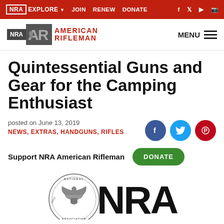NRA EXPLORE ▾  JOIN  RENEW  DONATE  [social icons: Facebook, Twitter, YouTube, Instagram]
[Figure (logo): NRA American Rifleman logo with NRA box, stylized AR letters, and text AMERICAN RIFLEMAN in red. MENU hamburger button on right.]
Quintessential Guns and Gear for the Camping Enthusiast
posted on June 13, 2019
NEWS, EXTRAS, HANDGUNS, RIFLES
Support NRA American Rifleman
[Figure (logo): NRA seal/medallion logo on left and large NRA text on right, partially cropped at bottom of page.]